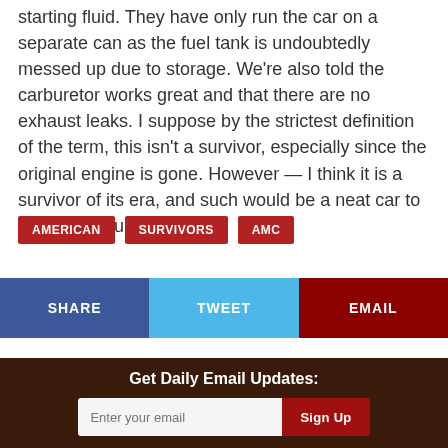starting fluid. They have only run the car on a separate can as the fuel tank is undoubtedly messed up due to storage. We're also told the carburetor works great and that there are no exhaust leaks. I suppose by the strictest definition of the term, this isn't a survivor, especially since the original engine is gone. However — I think it is a survivor of its era, and such would be a neat car to have. Do you agree?
AMERICAN
SURVIVORS
AMC
SHARE
TWEET
EMAIL
Get Daily Email Updates:
Enter your email
Sign Up